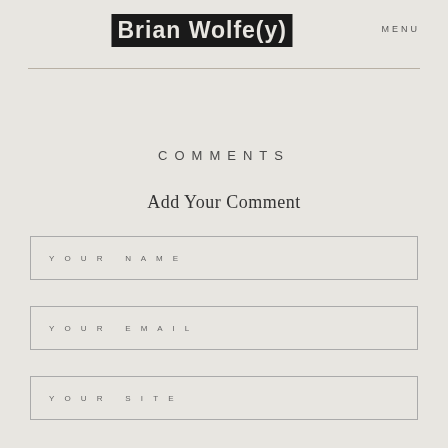Brian Wolfe(y)   MENU
COMMENTS
Add Your Comment
YOUR NAME
YOUR EMAIL
YOUR SITE